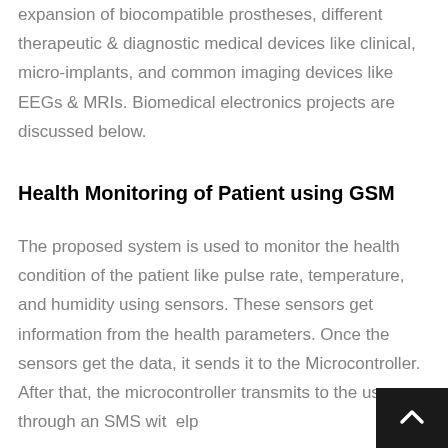expansion of biocompatible prostheses, different therapeutic & diagnostic medical devices like clinical, micro-implants, and common imaging devices like EEGs & MRIs. Biomedical electronics projects are discussed below.
Health Monitoring of Patient using GSM
The proposed system is used to monitor the health condition of the patient like pulse rate, temperature, and humidity using sensors. These sensors get information from the health parameters. Once the sensors get the data, it sends it to the Microcontroller. After that, the microcontroller transmits to the user through an SMS with help